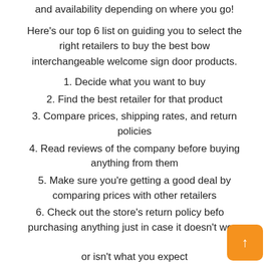and availability depending on where you go!
Here's our top 6 list on guiding you to select the right retailers to buy the best bow interchangeable welcome sign door products.
1. Decide what you want to buy
2. Find the best retailer for that product
3. Compare prices, shipping rates, and return policies
4. Read reviews of the company before buying anything from them
5. Make sure you're getting a good deal by comparing prices with other retailers
6. Check out the store's return policy before purchasing anything just in case it doesn't work out or isn't what you expect